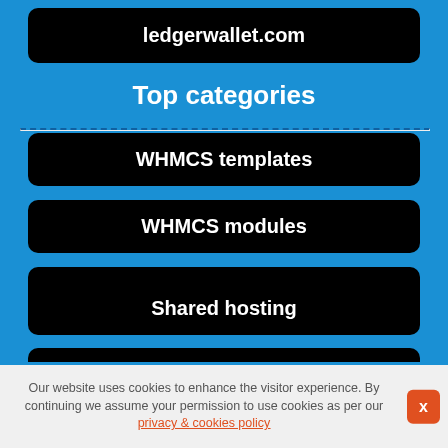ledgerwallet.com
Top categories
WHMCS templates
WHMCS modules
WordPress themes
Shared hosting
Cryptocurrencies
Our website uses cookies to enhance the visitor experience. By continuing we assume your permission to use cookies as per our privacy & cookies policy